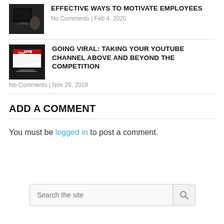[Figure (photo): Thumbnail photo of a person using a laptop, dark image]
EFFECTIVE WAYS TO MOTIVATE EMPLOYEES
No Comments | Feb 4, 2020
[Figure (photo): Thumbnail photo of a laptop displaying YouTube website]
GOING VIRAL: TAKING YOUR YOUTUBE CHANNEL ABOVE AND BEYOND THE COMPETITION
No Comments | Nov 29, 2018
ADD A COMMENT
You must be logged in to post a comment.